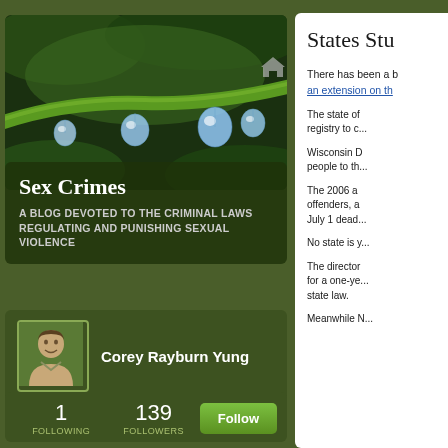[Figure (photo): Close-up photograph of green plant stem with water droplets hanging from it]
Sex Crimes
A BLOG DEVOTED TO THE CRIMINAL LAWS REGULATING AND PUNISHING SEXUAL VIOLENCE
[Figure (photo): Profile photo of Corey Rayburn Yung, a man with short brown hair]
Corey Rayburn Yung
1 FOLLOWING   139 FOLLOWERS   Follow
States Stu
There has been a b... an extension on th...
The state of... registry to c...
Wisconsin D... people to th...
The 2006 a... offenders, a... July 1 dead...
No state is y...
The director... for a one-ye... state law.
Meanwhile N...